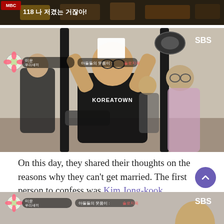[Figure (screenshot): Partial screenshot of a TV show scene (top) showing a table with food, with Korean text overlay and broadcast logo]
[Figure (screenshot): Screenshot from SBS TV show 'Miun Woori Saekki' (My Ugly Duckling) showing a man in a black KOREATOWN t-shirt raising his arms near gym equipment. Korean show badge and SBS logo visible.]
On this day, they shared their thoughts on the reasons why they can't get married. The first person to confess was Kim Jong-kook.
[Figure (screenshot): Partial screenshot from same SBS TV show at bottom of page, showing same show badge with person visible]